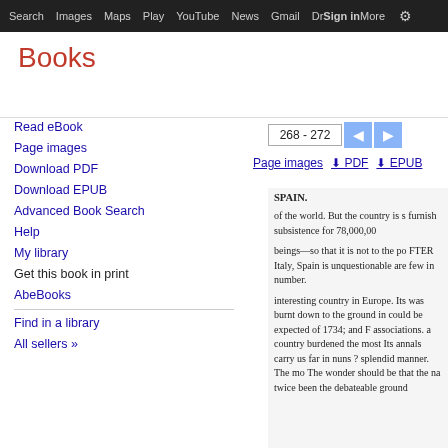Search  Images  Maps  Play  YouTube  News  Gmail  Drive  More  Sign in  Settings
Books
Read eBook
Page images
Download PDF
Download EPUB
Advanced Book Search
Help
My library
Get this book in print
AbeBooks
Find in a library
All sellers »
268 - 272
Page images   PDF   EPUB
SPAIN.

of the world. But the country is s furnish subsistence for 78,000,00

beings—so that it is not to the po FTER Italy, Spain is unquestionaare few in number.

interesting country in Europe. Its was burnt down to the ground in could be expected of 1734; and F associations. a country burthenedthe most Its annals carry us far in nuns ? splendid manner. The mo The wonder should be that the na twice been the debateable ground